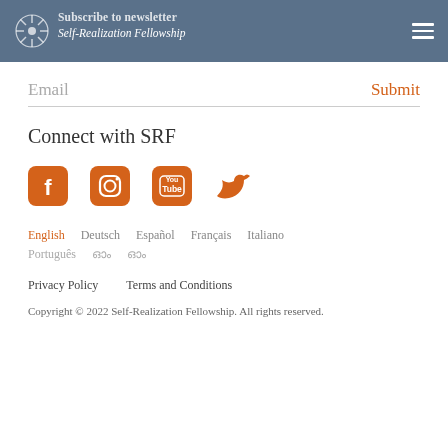Subscribe to newsletter | Self-Realization Fellowship
Email  Submit
Connect with SRF
[Figure (infographic): Social media icons: Facebook, Instagram, YouTube, Twitter — all in orange]
English
Deutsch
Español
Français
Italiano
Português
ഓം
ഓം
Privacy Policy    Terms and Conditions
Copyright © 2022 Self-Realization Fellowship. All rights reserved.